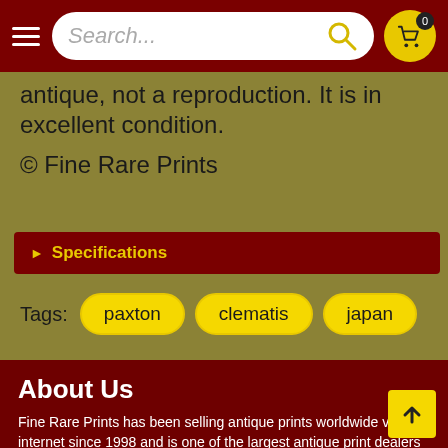Search...
antique, not a reproduction. It is in excellent condition.
© Fine Rare Prints
Specifications
Tags: paxton  clematis  japan
About Us
Fine Rare Prints has been selling antique prints worldwide via the internet since 1998 and is one of the largest antique print dealers in the world. We offer:
Over thirty thousand original antique prints
Certificates of authenticity
Guaranteed satisfaction